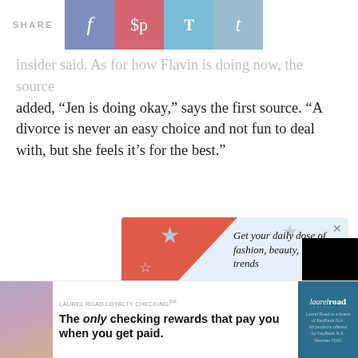[Figure (screenshot): Share bar with Facebook (blue-purple), Pinterest (red-pink), Twitter (light blue), and Tumblr (light blue-grey) social share buttons]
insider said. As for how Flavin is doing now, the source added, “Jen is doing okay,” says the first source. “A divorce is never an easy choice and not fun to deal with, but she feels it’s for the best.”
[Figure (screenshot): Pop-up advertisement overlay: 'Get your daily dose of fashion, beauty, lifestyle trends' with STYLE text and email input field. Partially covered by a black video loading overlay with spinner.]
[Figure (screenshot): Banner advertisement for Laurel Road Loyalty Checking: 'The only checking rewards that pay you when you get paid.' with Laurel Road logo on the right.]